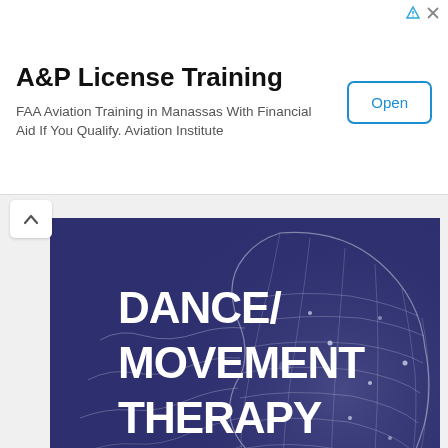A&P License Training
FAA Aviation Training in Manassas With Financial Aid If You Qualify. Aviation Institute
[Figure (screenshot): Open button in rounded rectangle border with blue text]
[Figure (illustration): Dance/Movement Therapy promotional banner. Dark navy/purple background with white wireframe human head profile on the right. Bold white text reads DANCE/MOVEMENT THERAPY on the upper left. Larger light purple/lavender bold text reads BRAIN. BODY. BALANCE. on the lower left. A button in the lower right reads LEARN MORE with a right-pointing triangle arrow.]